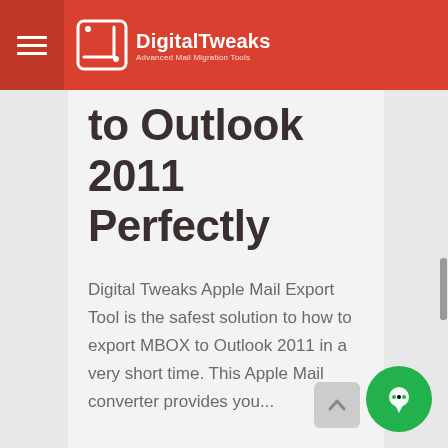DigitalTweaks — Advanced Mail Migration Tools
to Outlook 2011 Perfectly
Digital Tweaks Apple Mail Export Tool is the safest solution to how to export MBOX to Outlook 2011 in a very short time. This Apple Mail converter provides you...